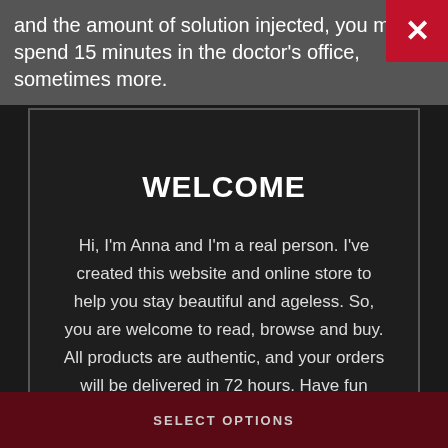and the amount of solution injected, you may spend 15 minutes in the doctor's office, sometimes more.
WELCOME
Hi, I'm Anna and I'm a real person. I've created this website and online store to help you stay beautiful and ageless. So, you are welcome to read, browse and buy. All products are authentic, and your orders will be delivered in 72 hours. Have fun shopping!
SELECT OPTIONS